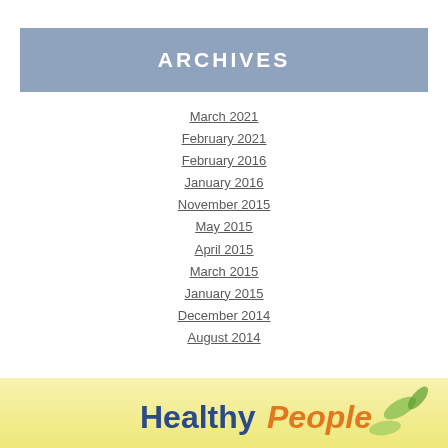ARCHIVES
March 2021
February 2021
February 2016
January 2016
November 2015
May 2015
April 2015
March 2015
January 2015
December 2014
August 2014
[Figure (logo): Healthy People logo on yellow/cream gradient background with green leaf decorations]